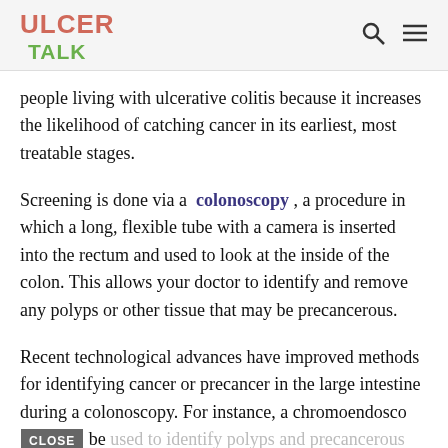ULCER TALK
people living with ulcerative colitis because it increases the likelihood of catching cancer in its earliest, most treatable stages.
Screening is done via a colonoscopy, a procedure in which a long, flexible tube with a camera is inserted into the rectum and used to look at the inside of the colon. This allows your doctor to identify and remove any polyps or other tissue that may be precancerous.
Recent technological advances have improved methods for identifying cancer or precancer in the large intestine during a colonoscopy. For instance, a chromoendoscopy be used to identify polyps and precancerous changes in the large intestine. This involves using a blue contrast dye to